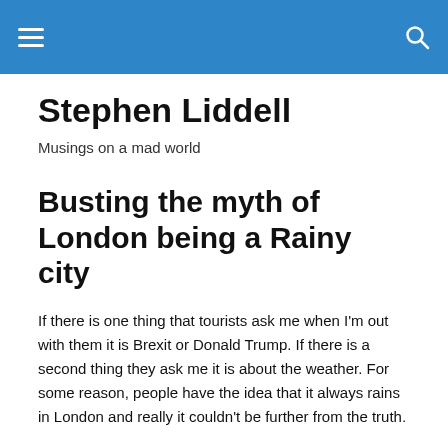Stephen Liddell — navigation header
Stephen Liddell
Musings on a mad world
Busting the myth of London being a Rainy city
If there is one thing that tourists ask me when I'm out with them it is Brexit or Donald Trump.  If there is a second thing they ask me it is about the weather.    For some reason, people have the idea that it always rains in London and really it couldn't be further from the truth.
It 'rarely' rains in London.  Whilst areas of the Western